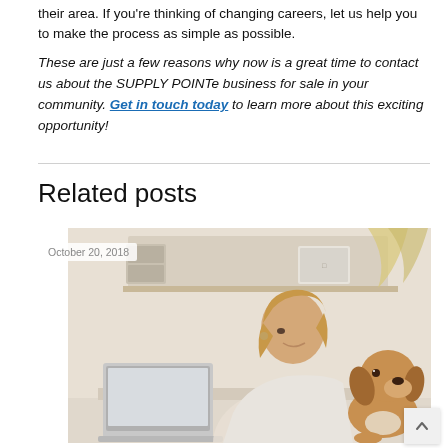their area. If you're thinking of changing careers, let us help you to make the process as simple as possible.
These are just a few reasons why now is a great time to contact us about the SUPPLY POINTe business for sale in your community. Get in touch today to learn more about this exciting opportunity!
Related posts
[Figure (photo): Woman smiling at a laptop computer with a beagle dog sitting beside her, set in a bright home office environment. Date label reads October 20, 2018.]